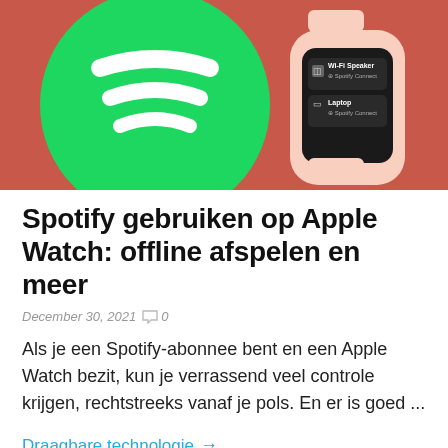[Figure (screenshot): Hero image showing a Spotify logo (green circle with white sound waves on a coral/red-orange background) and an Apple Watch displaying a Spotify Connect menu with 'Wi-Fi Speaker' and 'Laptop' options.]
Spotify gebruiken op Apple Watch: offline afspelen en meer
December 30, 2021  💬 0
Als je een Spotify-abonnee bent en een Apple Watch bezit, kun je verrassend veel controle krijgen, rechtstreeks vanaf je pols. En er is goed ...
Draagbare technologie →